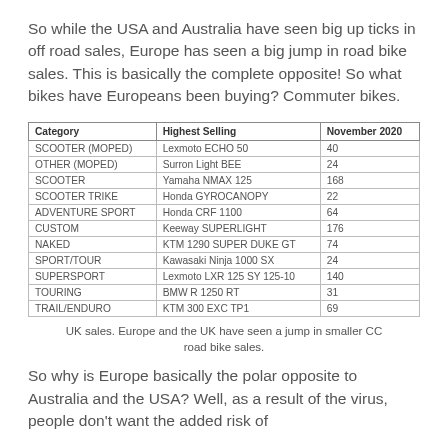So while the USA and Australia have seen big up ticks in off road sales, Europe has seen a big jump in road bike sales. This is basically the complete opposite! So what bikes have Europeans been buying? Commuter bikes.
| Category | Highest Selling | November 2020 |
| --- | --- | --- |
| SCOOTER (MOPED) | Lexmoto ECHO 50 | 40 |
| OTHER (MOPED) | Surron Light BEE | 24 |
| SCOOTER | Yamaha NMAX 125 | 168 |
| SCOOTER TRIKE | Honda GYROCANOPY | 22 |
| ADVENTURE SPORT | Honda CRF 1100 | 64 |
| CUSTOM | Keeway SUPERLIGHT | 176 |
| NAKED | KTM 1290 SUPER DUKE GT | 74 |
| SPORT/TOUR | Kawasaki Ninja 1000 SX | 24 |
| SUPERSPORT | Lexmoto LXR 125 SY 125-10 | 140 |
| TOURING | BMW R 1250 RT | 31 |
| TRAIL/ENDURO | KTM 300 EXC TP1 | 69 |
UK sales. Europe and the UK have seen a jump in smaller CC road bike sales.
So why is Europe basically the polar opposite to Australia and the USA? Well, as a result of the virus, people don't want the added risk of